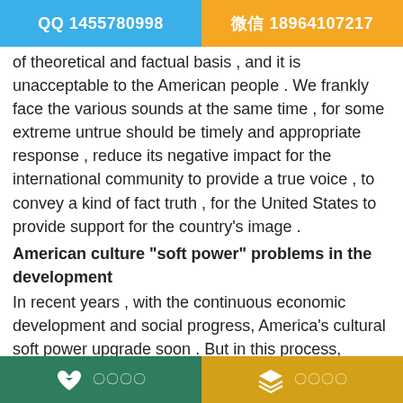QQ 1455780998 | 微信 18964107217
of theoretical and factual basis , and it is unacceptable to the American people . We frankly face the various sounds at the same time , for some extreme untrue should be timely and appropriate response , reduce its negative impact for the international community to provide a true voice , to convey a kind of fact truth , for the United States to provide support for the country's image .
American culture "soft power" problems in the development
In recent years , with the continuous economic development and social progress, America's cultural soft power upgrade soon . But in this process, because the United States in this regard started late, foundation is weak, with little experience , there are also some issues worthy of our attention.
First, the cultural resources are not fully utilized.
〇〇〇〇 | 〇〇〇〇